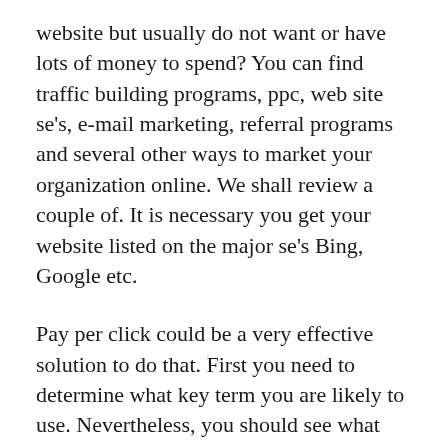website but usually do not want or have lots of money to spend? You can find traffic building programs, ppc, web site se's, e-mail marketing, referral programs and several other ways to market your organization online. We shall review a couple of. It is necessary you get your website listed on the major se's Bing, Google etc.
Pay per click could be a very effective solution to do that. First you need to determine what key term you are likely to use. Nevertheless, you should see what keywords your rivals is using first. You can certainly do this by entering the keywords in the internet search engine you need to get listed in, and see who ranks in the very best 25.